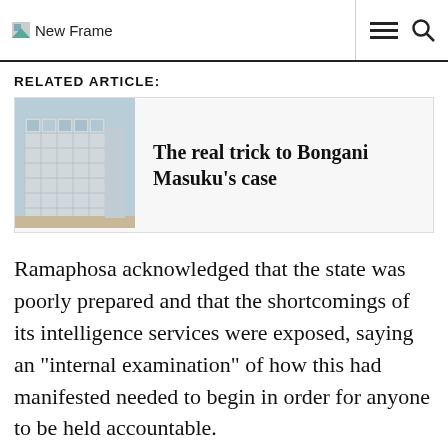New Frame
RELATED ARTICLE:
[Figure (photo): Exterior photograph of a modern glass and steel building]
The real trick to Bongani Masuku’s case
Ramaphosa acknowledged that the state was poorly prepared and that the shortcomings of its intelligence services were exposed, saying an “internal examination” of how this had manifested needed to begin in order for anyone to be held accountable.